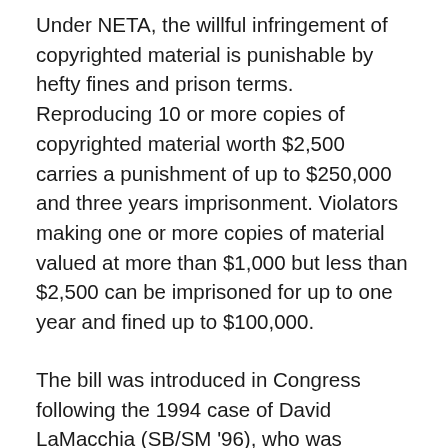Under NETA, the willful infringement of copyrighted material is punishable by hefty fines and prison terms. Reproducing 10 or more copies of copyrighted material worth $2,500 carries a punishment of up to $250,000 and three years imprisonment. Violators making one or more copies of material valued at more than $1,000 but less than $2,500 can be imprisoned for up to one year and fined up to $100,000.
The bill was introduced in Congress following the 1994 case of David LaMacchia (SB/SM '96), who was accused by the government of illegally distributing software by posting it on a globally accessible Internet bulletin board. The bulletin board was operated without authorization on MIT